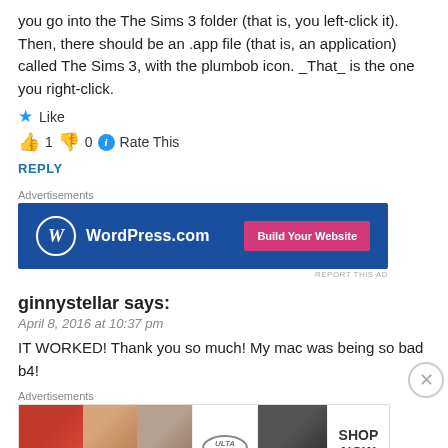you go into the The Sims 3 folder (that is, you left-click it). Then, there should be an .app file (that is, an application) called The Sims 3, with the plumbob icon. _That_ is the one you right-click.
★ Like
👍 1 👎 0 ℹ Rate This
REPLY
[Figure (screenshot): WordPress.com advertisement banner with blue background showing WordPress logo and 'Build Your Website' pink button]
ginnystellar says:
April 8, 2016 at 10:37 pm
IT WORKED! Thank you so much! My mac was being so bad b4!
[Figure (screenshot): Ulta Beauty advertisement showing makeup images with 'SHOP NOW' text]